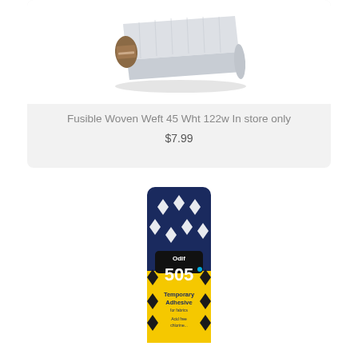[Figure (photo): A roll of white/light grey fusible woven weft interfacing fabric, folded and packaged with a brown cardboard label.]
Fusible Woven Weft 45 Wht 122w In store only
$7.99
[Figure (photo): A package of Odif 505 Temporary Adhesive for Fabrics, acid free, shown in a dark navy blue and yellow packaging with diamond shapes.]